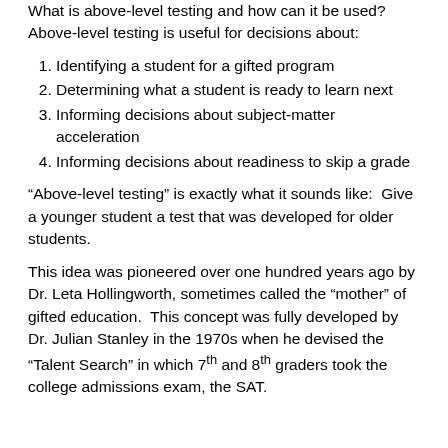What is above-level testing and how can it be used? Above-level testing is useful for decisions about:
Identifying a student for a gifted program
Determining what a student is ready to learn next
Informing decisions about subject-matter acceleration
Informing decisions about readiness to skip a grade
“Above-level testing” is exactly what it sounds like: Give a younger student a test that was developed for older students.
This idea was pioneered over one hundred years ago by Dr. Leta Hollingworth, sometimes called the “mother” of gifted education. This concept was fully developed by Dr. Julian Stanley in the 1970s when he devised the “Talent Search” in which 7th and 8th graders took the college admissions exam, the SAT.